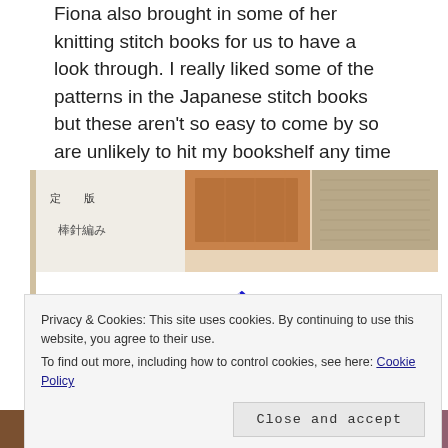Fiona also brought in some of her knitting stitch books for us to have a look through. I really liked some of the patterns in the Japanese stitch books but these aren't so easy to come by so are unlikely to hit my bookshelf any time soon.
[Figure (photo): Photo of a Japanese knitting pattern book cover titled 'パターンブック300' (Pattern Book 300) showing various knitting stitch swatches in different colors and textures arranged in a grid. Japanese text includes 棒針編み (needle knitting), 地模様, 透かし模様, 交差模様, オリジナルニットに.]
Privacy & Cookies: This site uses cookies. By continuing to use this website, you agree to their use.
To find out more, including how to control cookies, see here: Cookie Policy
Close and accept
[Figure (photo): Bottom strip showing partial view of colorful knitting swatches in brown, pink/red, and mauve colors.]